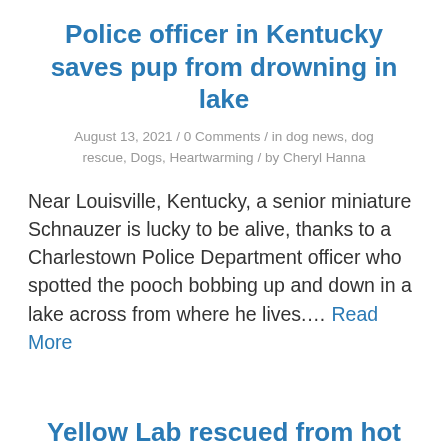Police officer in Kentucky saves pup from drowning in lake
August 13, 2021 / 0 Comments / in dog news, dog rescue, Dogs, Heartwarming / by Cheryl Hanna
Near Louisville, Kentucky, a senior miniature Schnauzer is lucky to be alive, thanks to a Charlestown Police Department officer who spotted the pooch bobbing up and down in a lake across from where he lives.... Read More
Yellow Lab rescued from hot